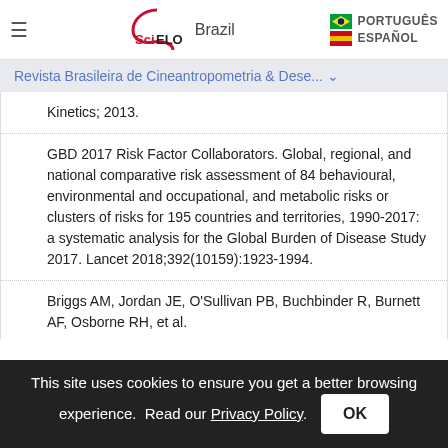SciELO Brazil | PORTUGUÊS | ESPAÑOL
Revista Brasileira de Cineantropometria & Dese...
Kinetics; 2013.
GBD 2017 Risk Factor Collaborators. Global, regional, and national comparative risk assessment of 84 behavioural, environmental and occupational, and metabolic risks or clusters of risks for 195 countries and territories, 1990-2017: a systematic analysis for the Global Burden of Disease Study 2017. Lancet 2018;392(10159):1923-1994.
Briggs AM, Jordan JE, O'Sullivan PB, Buchbinder R, Burnett AF, Osborne RH, et al.
This site uses cookies to ensure you get a better browsing experience. Read our Privacy Policy.